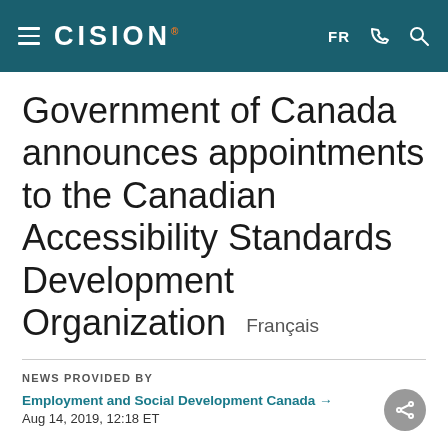CISION — FR
Government of Canada announces appointments to the Canadian Accessibility Standards Development Organization   Français
NEWS PROVIDED BY
Employment and Social Development Canada →
Aug 14, 2019, 12:18 ET